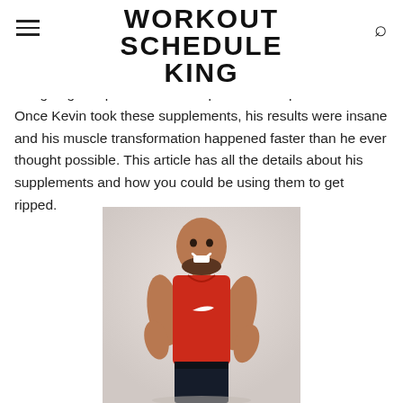WORKOUT SCHEDULE KING
using to get in phenomenal shape in a short period of time. Once Kevin took these supplements, his results were insane and his muscle transformation happened faster than he ever thought possible. This article has all the details about his supplements and how you could be using them to get ripped.
[Figure (photo): Person in red Nike sleeveless shirt, muscular build, smiling, against white background]